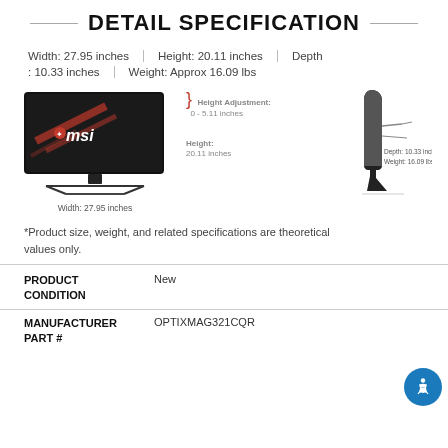DETAIL SPECIFICATION
Width: 27.95 inches | Height: 20.11 inches | Depth
: 10.33 inches | Weight: Approx 16.09 lbs
[Figure (engineering-diagram): MSI curved monitor front view with dimension labels: Width 27.95 inches, Height 20.11 inches, Depth 10.33 inches, Weight 16.09 lbs, Height Adjustment 0-5.11 inches. Includes front photo of MSI monitor and side profile silhouette.]
*Product size, weight, and related specifications are theoretical values only.
PRODUCT CONDITION    New
MANUFACTURER PART #    OPTIXMAG321CQR